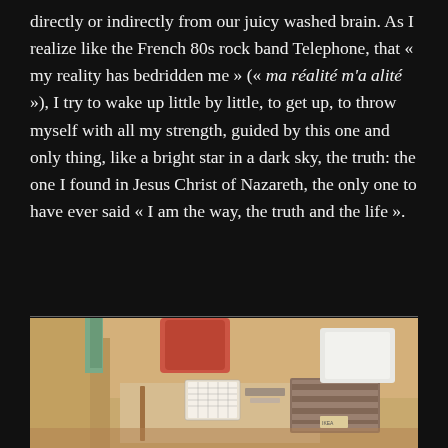directly or indirectly from our juicy washed brain. As I realize like the French 80s rock band Telephone, that « my reality has bedridden me » (« ma réalité m'a alité »), I try to wake up little by little, to get up, to throw myself with all my strength, guided by this one and only thing, like a bright star in a dark sky, the truth: the one I found in Jesus Christ of Nazareth, the only one to have ever said « I am the way, the truth and the life ».
[Figure (photo): A photograph of a cluttered surface with cardboard boxes, a red cloth/bag, what appears to be playing cards, miscellaneous objects and packaging on a light brown/beige background.]